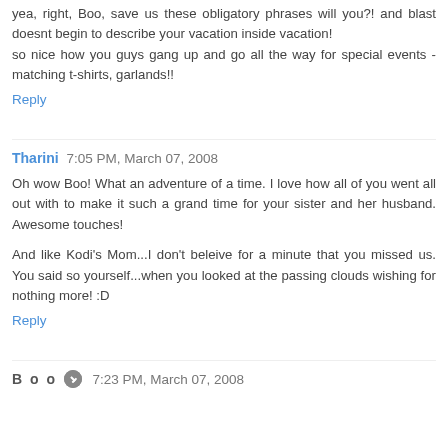yea, right, Boo, save us these obligatory phrases will you?! and blast doesnt begin to describe your vacation inside vacation! so nice how you guys gang up and go all the way for special events - matching t-shirts, garlands!!
Reply
Tharini  7:05 PM, March 07, 2008
Oh wow Boo! What an adventure of a time. I love how all of you went all out with to make it such a grand time for your sister and her husband. Awesome touches!
And like Kodi's Mom...I don't beleive for a minute that you missed us. You said so yourself...when you looked at the passing clouds wishing for nothing more! :D
Reply
Boo  7:23 PM, March 07, 2008